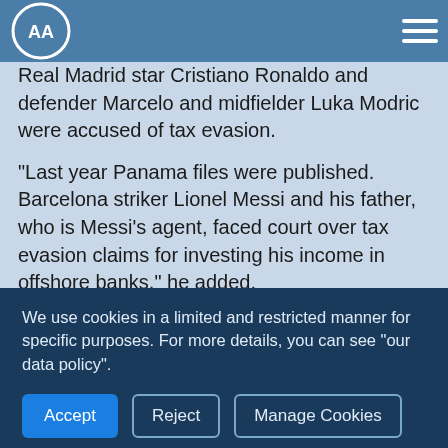Anadolu Agency logo and hamburger menu
Real Madrid star Cristiano Ronaldo and defender Marcelo and midfielder Luka Modric were accused of tax evasion.
"Last year Panama files were published. Barcelona striker Lionel Messi and his father, who is Messi's agent, faced court over tax evasion claims for investing his income in offshore banks," he added.
Messi was found guilty for exploiting his image rights that he earned in 2007, 2008 and 2009. Messi and his father Jorge Horacio were charged for defrauding Spain of 4.1
We use cookies in a limited and restricted manner for specific purposes. For more details, you can see "our data policy".